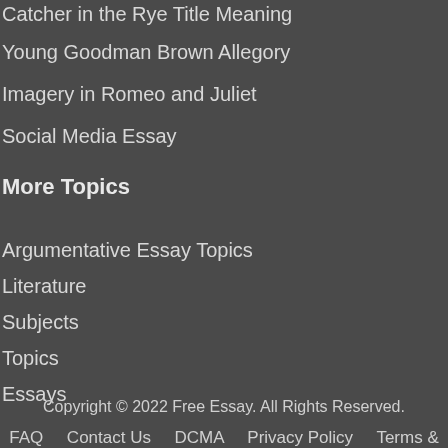Catcher in the Rye Title Meaning
Young Goodman Brown Allegory
Imagery in Romeo and Juliet
Social Media Essay
More Topics
Argumentative Essay Topics
Literature
Subjects
Topics
Essays
Copyright © 2022 Free Essay. All Rights Reserved.
FAQ   Contact Us   DCMA   Privacy Policy   Terms &